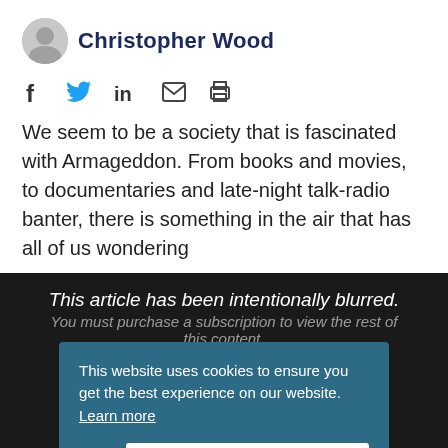[Figure (photo): Circular avatar photo of Christopher Wood]
Christopher Wood
[Figure (infographic): Social sharing icons: Facebook, Twitter, LinkedIn, email, print]
We seem to be a society that is fascinated with Armageddon. From books and movies, to documentaries and late-night talk-radio banter, there is something in the air that has all of us wondering
This article has been intentionally blurred.
You must purchase a subscription to view the rest of this content.
Want to See More!?
LOGIN
This website uses cookies to ensure you get the best experience on our website.  Learn more
Deny
Allow